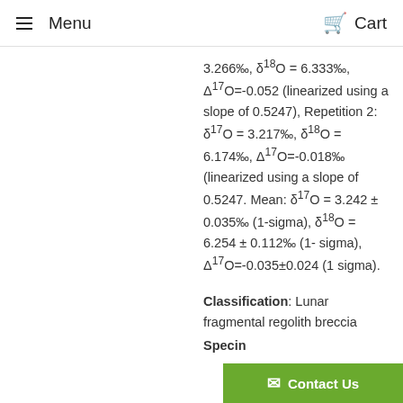Menu   Cart
3.266‰, δ¹⁸O = 6.333‰, Δ¹⁷O=-0.052 (linearized using a slope of 0.5247), Repetition 2: δ¹⁷O = 3.217‰, δ¹⁸O = 6.174‰, Δ¹⁷O=-0.018‰ (linearized using a slope of 0.5247. Mean: δ¹⁷O = 3.242 ± 0.035‰ (1-sigma), δ¹⁸O = 6.254 ± 0.112‰ (1-sigma), Δ¹⁷O=-0.035±0.024 (1 sigma).
Classification: Lunar fragmental regolith breccia
Specin...